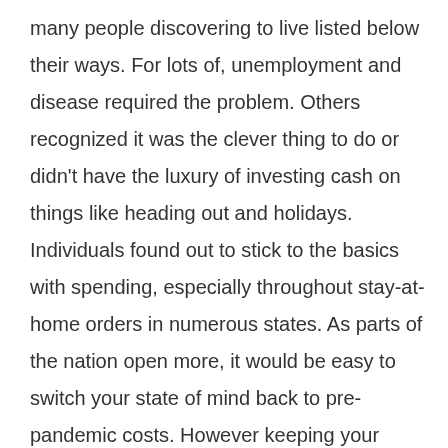many people discovering to live listed below their ways. For lots of, unemployment and disease required the problem. Others recognized it was the clever thing to do or didn't have the luxury of investing cash on things like heading out and holidays. Individuals found out to stick to the basics with spending, especially throughout stay-at-home orders in numerous states. As parts of the nation open more, it would be easy to switch your state of mind back to pre-pandemic costs. However keeping your expenditures lower is a great way to conserve cash and likewise protect yourself moving on.